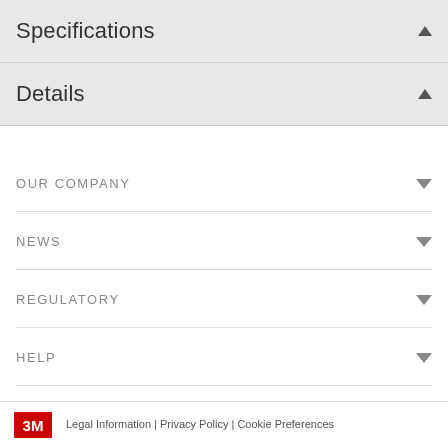Specifications
Details
OUR COMPANY
NEWS
REGULATORY
HELP
Legal Information | Privacy Policy | Cookie Preferences